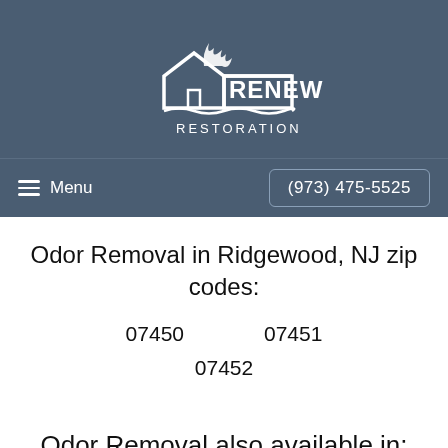[Figure (logo): Renew Restoration logo — white outline of a house with flames above and waves below, text 'Renew RESTORATION' in white on dark blue-grey background]
Menu  (973) 475-5525
Odor Removal in Ridgewood, NJ zip codes:
07450
07451
07452
Odor Removal also available in: